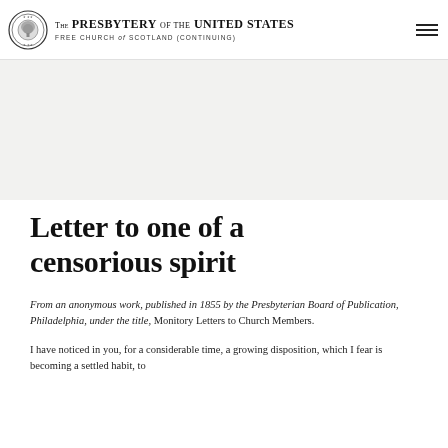The Presbytery of the United States — Free Church of Scotland (Continuing)
[Figure (illustration): Gray hero/banner image area, light gray background placeholder]
Letter to one of a censorious spirit
From an anonymous work, published in 1855 by the Presbyterian Board of Publication, Philadelphia, under the title, Monitory Letters to Church Members.
I have noticed in you, for a considerable time, a growing disposition, which I fear is becoming a settled habit, to